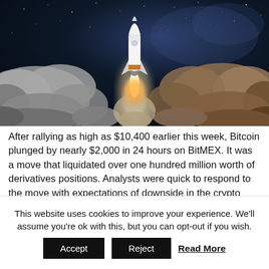[Figure (photo): Space shuttle launching with bright rocket exhaust and billowing clouds of smoke against a dark starry sky background]
After rallying as high as $10,400 earlier this week, Bitcoin plunged by nearly $2,000 in 24 hours on BitMEX. It was a move that liquidated over one hundred million worth of derivatives positions. Analysts were quick to respond to the move with expectations of downside in the crypto market.
This website uses cookies to improve your experience. We'll assume you're ok with this, but you can opt-out if you wish.